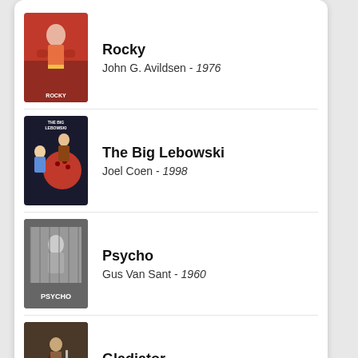Rocky – John G. Avildsen - 1976
The Big Lebowski – Joel Coen - 1998
Psycho – Gus Van Sant - 1960
Gladiator – Rowdy Herrington - 2000
The Green Mile – Frank Darabont - 1999